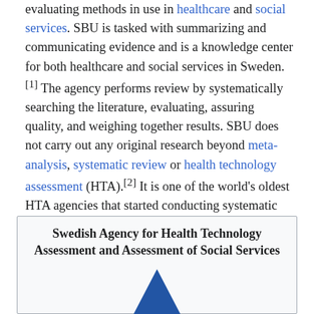evaluating methods in use in healthcare and social services. SBU is tasked with summarizing and communicating evidence and is a knowledge center for both healthcare and social services in Sweden.[1] The agency performs review by systematically searching the literature, evaluating, assuring quality, and weighing together results. SBU does not carry out any original research beyond meta-analysis, systematic review or health technology assessment (HTA).[2] It is one of the world's oldest HTA agencies that started conducting systematic reviews in 1987.[3]
[Figure (other): Infobox for Swedish Agency for Health Technology Assessment and Assessment of Social Services (SBU) with logo showing a blue triangle with 'SBU' text]